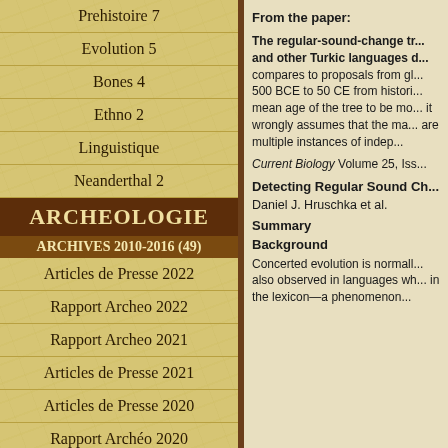Prehistoire 7
Evolution 5
Bones 4
Ethno 2
Linguistique
Neanderthal 2
ARCHEOLOGIE
ARCHIVES 2010-2016 (49)
Articles de Presse 2022
Rapport Archeo 2022
Rapport Archeo 2021
Articles de Presse 2021
Articles de Presse 2020
Rapport Archéo 2020
Rapports archeo 2019
Rapports Archeo 2018
From the paper:
The regular-sound-change tr... and other Turkic languages d... compares to proposals from gl... 500 BCE to 50 CE from histori... mean age of the tree to be mo... it wrongly assumes that the ma... are multiple instances of indep...
Current Biology Volume 25, Iss...
Detecting Regular Sound Ch...
Daniel J. Hruschka et al.
Summary
Background
Concerted evolution is normall... also observed in languages wh... in the lexicon—a phenomenon...